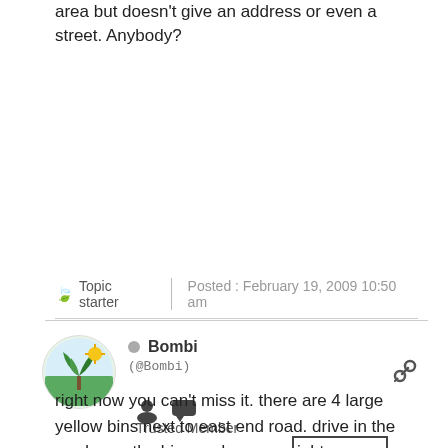area but doesn't give an address or even a street. Anybody?
Topic starter   Posted : February 19, 2009 10:50 am
Bombi (@Bombi) Trusted Member
right now you can't miss it. there are 4 large yellow bins next to east end road. drive in the road near the bins and on your right are more bins for trash. people put good stuff next to the bins for recycling. the cotton valley fire station is right there. we call